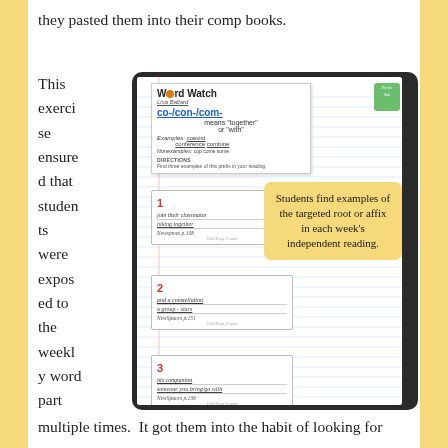they pasted them into their comp books.
This exercise ensured that students were exposed to the weekly word part
[Figure (photo): Photo of a composition notebook open to a 'Word Watch' worksheet about the prefix co-/con-/com- meaning 'together' or 'with', with three student-filled example boxes showing words found in independent reading. A yellow callout box overlaps the photo reading 'Students find examples of the targeted root or affix in each week's independent reading.']
multiple times.  It got them into the habit of looking for